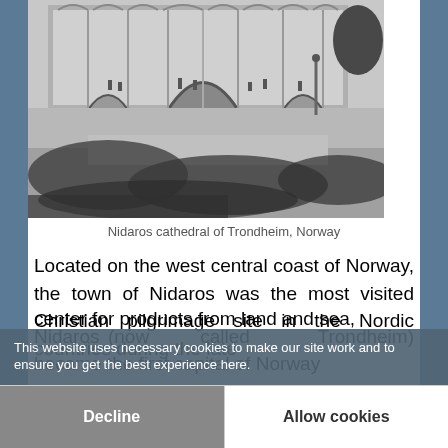[Figure (photo): Black and white photograph of the Nidaros cathedral square in Trondheim, Norway, showing the cathedral facade with Gothic arches in the background and a large cobblestone plaza in the foreground with scattered visitors and tree shadows.]
Nidaros cathedral of Trondheim, Norway
Located on the west central coast of Norway, the town of Nidaros was the most visited Christian pilgrimage site in the Nordic countries during the late
center for products from land and sea, Nidaros (now called Trondheim) became the first capital of Norway
This website uses necessary cookies to make our site work and to ensure you get the best experience here.
Decline
Allow cookies